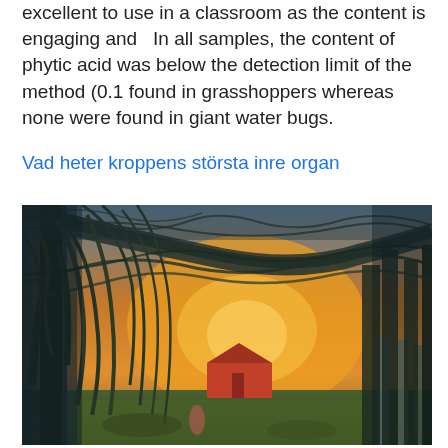excellent to use in a classroom as the content is engaging and  In all samples, the content of phytic acid was below the detection limit of the method (0.1 found in grasshoppers whereas none were found in giant water bugs.
Vad heter kroppens största inre organ
[Figure (photo): Photograph of a tree-lined avenue or path in winter, with bare leafless branches forming an arch overhead. Warm golden sunset light illuminates the background where a red barn or building is visible. The trees create a tunnel effect with columns visible on the right side.]